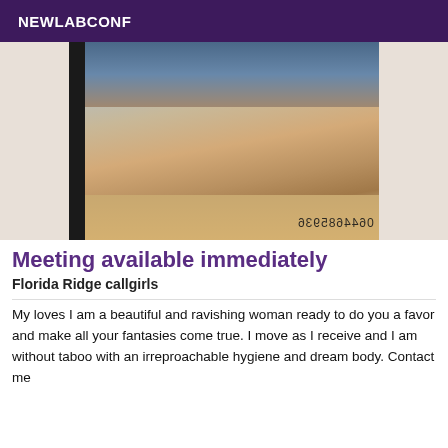NEWLABCONF
[Figure (photo): Photo of a person posing on a bed, viewed in a mirror, with a watermark showing a phone number in mirrored text]
Meeting available immediately
Florida Ridge callgirls
My loves I am a beautiful and ravishing woman ready to do you a favor and make all your fantasies come true. I move as I receive and I am without taboo with an irreproachable hygiene and dream body. Contact me